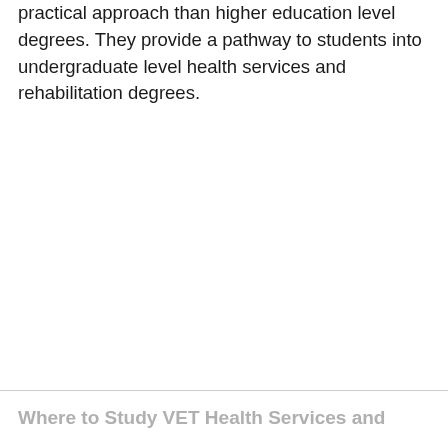practical approach than higher education level degrees. They provide a pathway to students into undergraduate level health services and rehabilitation degrees.
Where to Study VET Health Services and